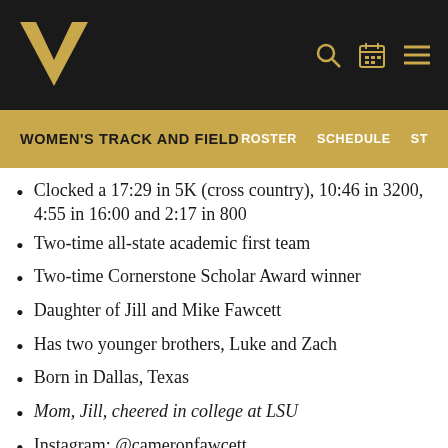Vanderbilt Women's Track and Field — ROSTER | SCHEDULE | ST
WOMEN'S TRACK AND FIELD
Clocked a 17:29 in 5K (cross country), 10:46 in 3200, 4:55 in 16:00 and 2:17 in 800
Two-time all-state academic first team
Two-time Cornerstone Scholar Award winner
Daughter of Jill and Mike Fawcett
Has two younger brothers, Luke and Zach
Born in Dallas, Texas
Mom, Jill, cheered in college at LSU
Instagram: @cameronfawcett